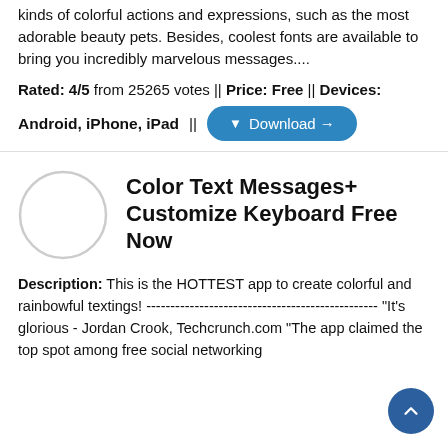kinds of colorful actions and expressions, such as the most adorable beauty pets. Besides, coolest fonts are available to bring you incredibly marvelous messages....
Rated: 4/5 from 25265 votes || Price: Free || Devices: Android, iPhone, iPad ||
Color Text Messages+ Customize Keyboard Free Now
Description: This is the HOTTEST app to create colorful and rainbowful textings! ------------------------------------------------ "It's glorious - Jordan Crook, Techcrunch.com "The app claimed the top spot among free social networking